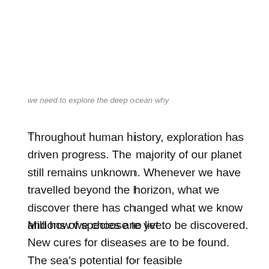we need to explore the deep ocean why
Throughout human history, exploration has driven progress. The majority of our planet still remains unknown. Whenever we have travelled beyond the horizon, what we discover there has changed what we know and how we choose to live.
Millions of species are yet to be discovered. New cures for diseases are to be found. The sea's potential for feasible advancement can be opened. The intensity of sea information can be figured it out. The birthplaces of life itself can be investigated.